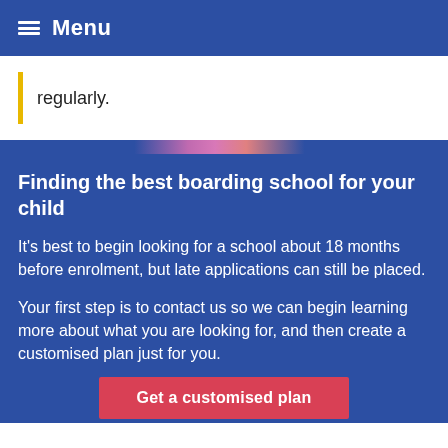Menu
regularly.
Finding the best boarding school for your child
It's best to begin looking for a school about 18 months before enrolment, but late applications can still be placed.
Your first step is to contact us so we can begin learning more about what you are looking for, and then create a customised plan just for you.
Get a customised plan